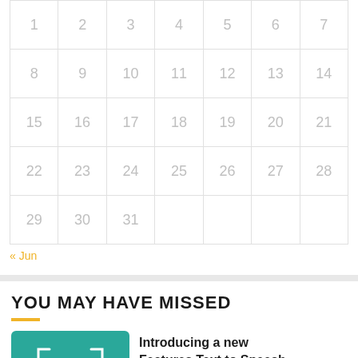| Sun | Mon | Tue | Wed | Thu | Fri | Sat |
| --- | --- | --- | --- | --- | --- | --- |
| 1 | 2 | 3 | 4 | 5 | 6 | 7 |
| 8 | 9 | 10 | 11 | 12 | 13 | 14 |
| 15 | 16 | 17 | 18 | 19 | 20 | 21 |
| 22 | 23 | 24 | 25 | 26 | 27 | 28 |
| 29 | 30 | 31 |  |  |  |  |
« Jun
YOU MAY HAVE MISSED
[Figure (illustration): Teal/green rounded square thumbnail with a white letter T and bracket corners, representing a Text-to-Speech Reader feature]
Introducing a new Features Text to Speech Reader
JUNE 16, 2022